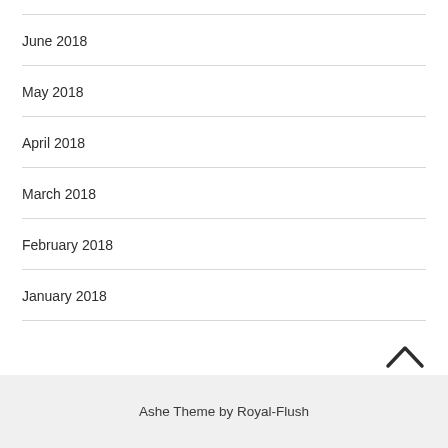June 2018
May 2018
April 2018
March 2018
February 2018
January 2018
Ashe Theme by Royal-Flush